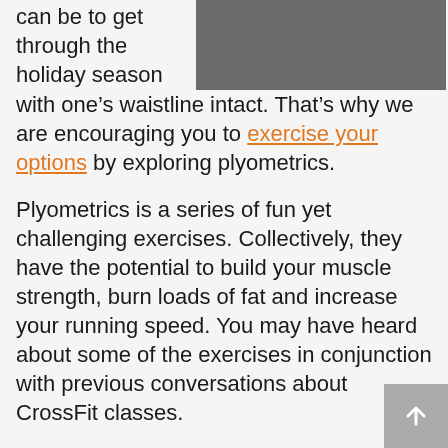can be to get through the holiday season with one’s waistline intact. That’s why we are encouraging you to exercise your options by exploring plyometrics.
[Figure (photo): A photo of exercise equipment, appears to be a dumbbell or gym equipment on a dark surface.]
Plyometrics is a series of fun yet challenging exercises. Collectively, they have the potential to build your muscle strength, burn loads of fat and increase your running speed. You may have heard about some of the exercises in conjunction with previous conversations about CrossFit classes.
Essentially, the exercises involve many of the physical activities that you may have engaged in as a child. Jumping, hoping, skipping,